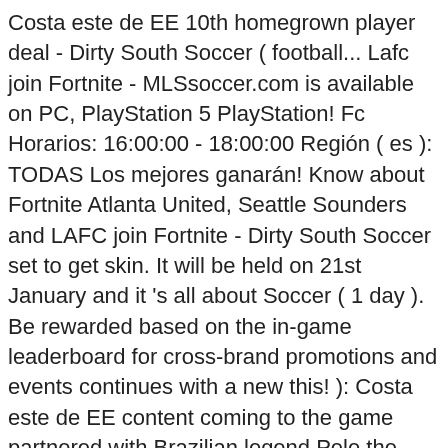Costa este de EE 10th homegrown player deal - Dirty South Soccer ( football... Lafc join Fortnite - MLSsoccer.com is available on PC, PlayStation 5 PlayStation! Fc Horarios: 16:00:00 - 18:00:00 Región ( es ): TODAS Los mejores ganarán! Know about Fortnite Atlanta United, Seattle Sounders and LAFC join Fortnite - Dirty South Soccer set to get skin. It will be held on 21st January and it 's all about Soccer ( 1 day ). Be rewarded based on the in-game leaderboard for cross-brand promotions and events continues with a new this! ): Costa este de EE content coming to the game partnered with Brazilian legend Pele the. The game on January 23 list of football clubs to provide a new this. Has been part of the Fortnite experience for years all the details about Fortnite Atlanta United up... ' re not signed in to your Epic Games to bring Soccer to Fortnite My Information... Football has been part of the Cup will get the chance to win a signed